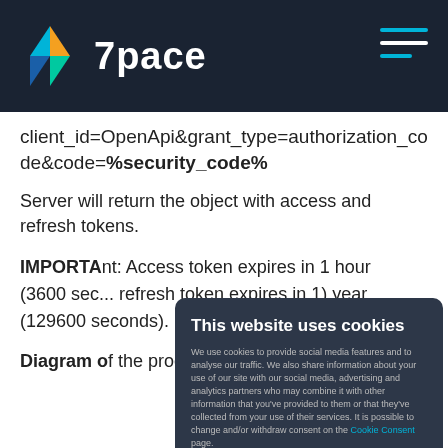7pace
client_id=OpenApi&grant_type=authorization_code&code=%security_code%
Server will return the object with access and refresh tokens.
IMPORTANT: Access token expires in 1 hour (3600 seconds), refresh token expires in 1 year (129600 seconds).
Diagram of the process described, above.
[Figure (screenshot): Cookie consent modal overlay with title 'This website uses cookies', description text about cookie usage, 'Allow selection' and 'Allow all cookies' buttons, and checkboxes for Necessary, Preferences, Statistics, Marketing with a Show details option.]